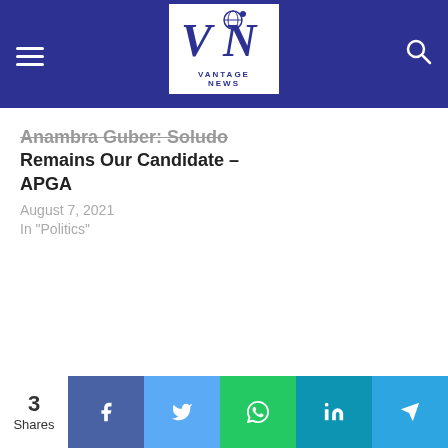Vantage News
Anambra Guber: Soludo Remains Our Candidate – APGA
August 7, 2021
In "Politics"
3 Shares — Facebook, Twitter, WhatsApp, LinkedIn, Telegram